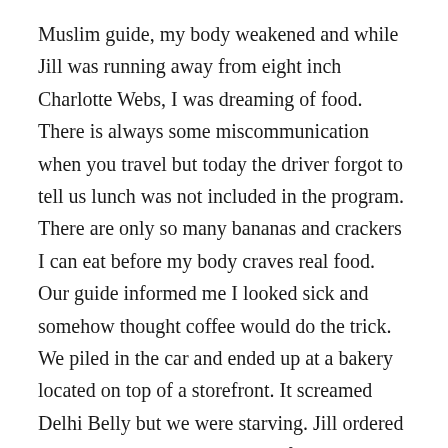Muslim guide, my body weakened and while Jill was running away from eight inch Charlotte Webs, I was dreaming of food. There is always some miscommunication when you travel but today the driver forgot to tell us lunch was not included in the program. There are only so many bananas and crackers I can eat before my body craves real food. Our guide informed me I looked sick and somehow thought coffee would do the trick. We piled in the car and ended up at a bakery located on top of a storefront. It screamed Delhi Belly but we were starving. Jill ordered a cheese popover and told me if she died I had to tell Bobbi (her mom) she was hungry. Knowing my issues, I stuck with the Indian banana lassi and the chai masala. The good news is we both lived.
Our guide, Yunice, studied spices and tourism in school. He is 34 and married with two children. Unlike most men we encountered, Yunice disapproves of how Islam treats